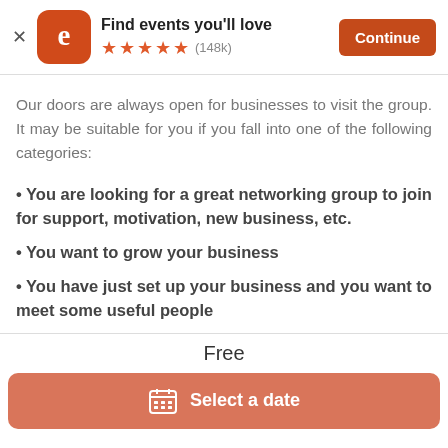[Figure (screenshot): Eventbrite app banner with orange 'e' logo icon, 'Find events you'll love' title, 5 orange stars rating with (148k), and orange 'Continue' button]
Our doors are always open for businesses to visit the group. It may be suitable for you if you fall into one of the following categories:
You are looking for a great networking group to join for support, motivation, new business, etc.
You want to grow your business
You have just set up your business and you want to meet some useful people
Free
Select a date